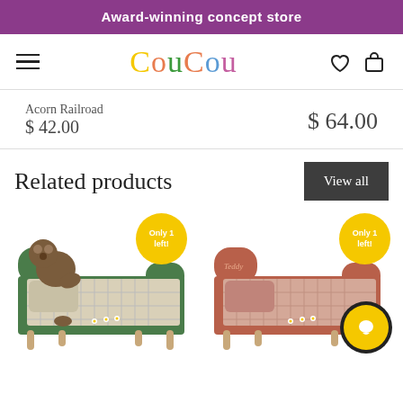Award-winning concept store
[Figure (screenshot): CouCou store logo with colorful letters, hamburger menu left, heart and bag icons right]
Acorn Railroad
$ 42.00
$ 64.00
Related products
View all
[Figure (photo): Green wooden toy bed with teddy bear and checkered bedding, 'Only 1 left!' yellow badge]
[Figure (photo): Terracotta/rose wooden toy bed with checkered bedding labeled Teddy, 'Only 1 left!' yellow badge, yellow chat button overlay]